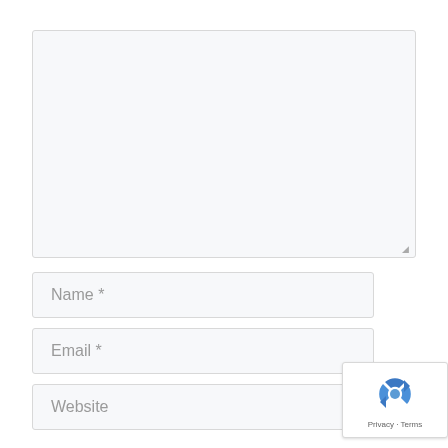[Figure (screenshot): Large textarea input field with light gray background and border, with a resize handle in the bottom-right corner]
Name *
Email *
Website
[Figure (logo): Google reCAPTCHA badge with logo icon and Privacy · Terms text]